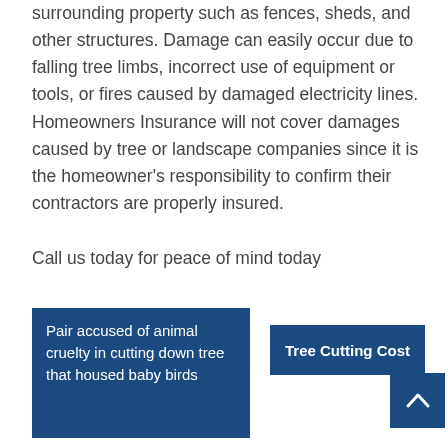surrounding property such as fences, sheds, and other structures. Damage can easily occur due to falling tree limbs, incorrect use of equipment or tools, or fires caused by damaged electricity lines.  Homeowners Insurance will not cover damages caused by tree or landscape companies since it is the homeowner's responsibility to confirm their contractors are properly insured.
Call us today for peace of mind today
Pair accused of animal cruelty in cutting down tree that housed baby birds
Tree Cutting Cost